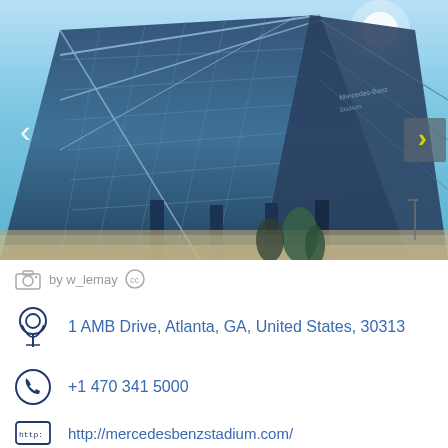[Figure (photo): Exterior photograph of Mercedes-Benz Stadium in Atlanta, GA. The distinctive geometric glass facade with triangular steel framework is visible under a blue sky. Navigation arrows on left and right sides of the image.]
by w_lemay (CC)
1 AMB Drive, Atlanta, GA, United States, 30313
+1 470 341 5000
http://mercedesbenzstadium.com/